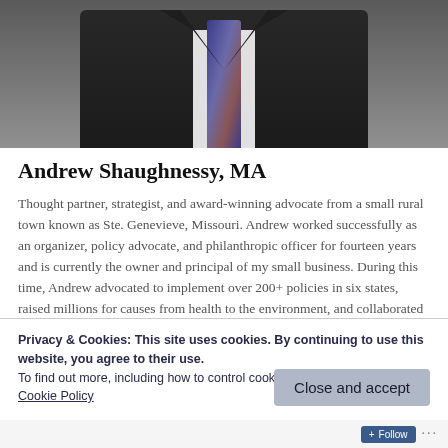[Figure (photo): Portrait photo of a man in a dark suit and striped tie, cropped to show torso and lower face/neck area]
Andrew Shaughnessy, MA
Thought partner, strategist, and award-winning advocate from a small rural town known as Ste. Genevieve, Missouri. Andrew worked successfully as an organizer, policy advocate, and philanthropic officer for fourteen years and is currently the owner and principal of my small business. During this time, Andrew advocated to implement over 200+ policies in six states, raised millions for causes from health to the environment, and collaborated with numerous stakeholders
Privacy & Cookies: This site uses cookies. By continuing to use this website, you agree to their use.
To find out more, including how to control cookies, see here: Cookie Policy
Close and accept